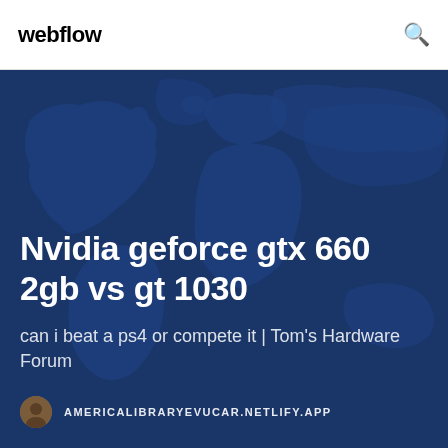webflow
[Figure (screenshot): Website screenshot showing Webflow page with world map background in dark blue, featuring an article title about Nvidia GeForce GTX 660 2gb vs GT 1030]
Nvidia geforce gtx 660 2gb vs gt 1030
can i beat a ps4 or compete it | Tom's Hardware Forum
AMERICALIBRARYEVUCAR.NETLIFY.APP